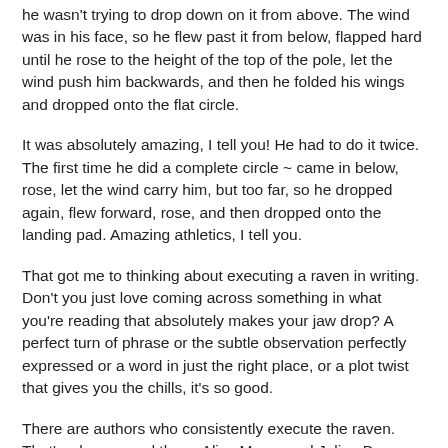he wasn't trying to drop down on it from above. The wind was in his face, so he flew past it from below, flapped hard until he rose to the height of the top of the pole, let the wind push him backwards, and then he folded his wings and dropped onto the flat circle.
It was absolutely amazing, I tell you! He had to do it twice. The first time he did a complete circle ~ came in below, rose, let the wind carry him, but too far, so he dropped again, flew forward, rose, and then dropped onto the landing pad. Amazing athletics, I tell you.
That got me to thinking about executing a raven in writing. Don't you just love coming across something in what you're reading that absolutely makes your jaw drop? A perfect turn of phrase or the subtle observation perfectly expressed or a word in just the right place, or a plot twist that gives you the chills, it's so good.
There are authors who consistently execute the raven. That's why we read them. Alice Munro and Julian Barnes and so many others. You just stand in awe of them. Their